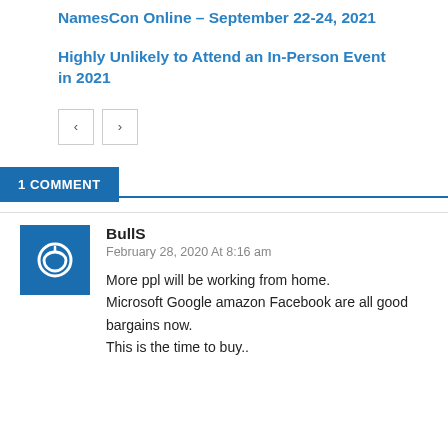NamesCon Online – September 22-24, 2021
Highly Unlikely to Attend an In-Person Event in 2021
[Figure (other): Navigation previous and next buttons]
1 COMMENT
BullS
February 28, 2020 At 8:16 am
More ppl will be working from home.
Microsoft Google amazon Facebook are all good bargains now.
This is the time to buy..